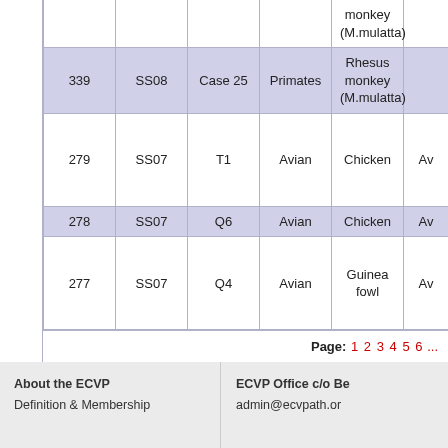| ID | Study | Case | Species group | Species | ... |
| --- | --- | --- | --- | --- | --- |
|  |  |  |  | monkey
(M.mulatta) |  |
| 339 | SS08 | Case 25 | Primates | Rhesus monkey
(M.mulatta) |  |
| 279 | SS07 | T1 | Avian | Chicken | Av... |
| 278 | SS07 | Q6 | Avian | Chicken | Av... |
| 277 | SS07 | Q4 | Avian | Guinea fowl | Av... |
Page: 1 2 3 4 5 6 ...
About the ECVP
Definition & Membership
ECVP Office c/o Be...
admin@ecvpath.or...